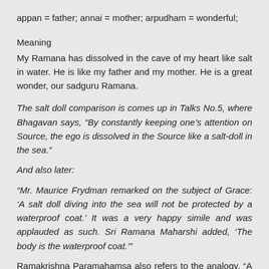appan = father; annai = mother; arpudham = wonderful;
Meaning
My Ramana has dissolved in the cave of my heart like salt in water. He is like my father and my mother. He is a great wonder, our sadguru Ramana.
The salt doll comparison is comes up in Talks No.5, where Bhagavan says, “By constantly keeping one’s attention on Source, the ego is dissolved in the Source like a salt-doll in the sea.”
And also later:
“Mr. Maurice Frydman remarked on the subject of Grace: ‘A salt doll diving into the sea will not be protected by a waterproof coat.’ It was a very happy simile and was applauded as such. Sri Ramana Maharshi added, ‘The body is the waterproof coat.’”
Ramakrishna Paramahamsa also refers to the analogy, “A salt doll